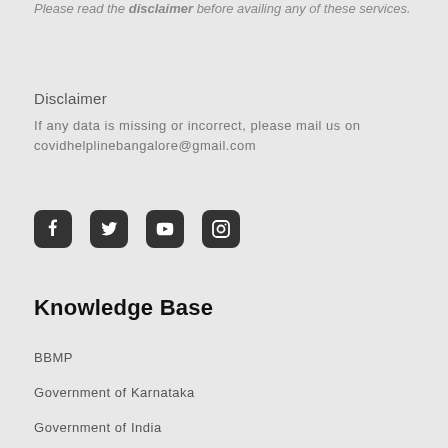Please read the disclaimer before availing any of these services.
Disclaimer
If any data is missing or incorrect, please mail us on covidhelplinebangalore@gmail.com
[Figure (other): Social media icons: Facebook, Twitter, YouTube, Instagram]
Knowledge Base
BBMP
Government of Karnataka
Government of India